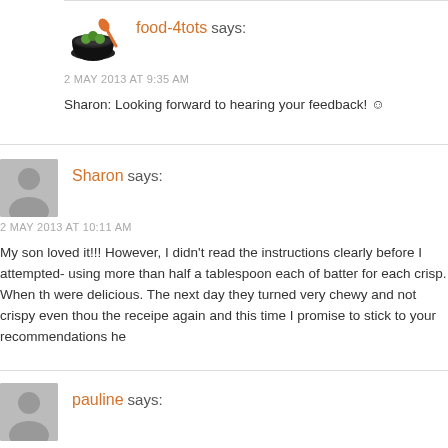[Figure (logo): food-4tots logo: bowl with green peas and orange spoon]
food-4tots says:
2 MAY 2013 AT 9:35 AM
Sharon: Looking forward to hearing your feedback! ☺
[Figure (illustration): Gray silhouette person avatar for Sharon]
Sharon says:
2 MAY 2013 AT 10:11 AM
My son loved it!!! However, I didn't read the instructions clearly before I attempted- using more than half a tablespoon each of batter for each crisp. When they were delicious. The next day they turned very chewy and not crispy even though the receipe again and this time I promise to stick to your recommendations he
[Figure (illustration): Gray silhouette person avatar for pauline]
pauline says: